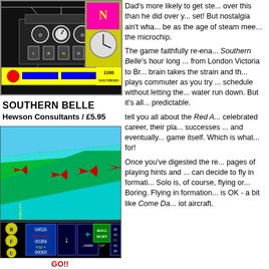[Figure (screenshot): Train simulator game screenshot showing locomotive cab view with controls, signal lights, and status bar showing 'ALL 1100 SOUTHERN']
SOUTHERN BELLE
Hewson Consultants / £5.95
Dad's more likely to get ste... over this than he did over y... set! But nostalgia ain't wha... be as the age of steam mee... the microchip. The game faithfully re-ena... Southern Belle's hour long ... from London Victoria to Br... brain takes the strain and th... plays commuter as you try ... schedule without letting the... water run down. But it's all... predictable. tell you all about the Red A... celebrated career, their pla... successes ... and eventually... game itself. Which is what... for! Once you've digested the re... pages of playing hints and ... can decide to fly in formati... Solo is, of course, flying or... Boring. Flying in formation... is OK - a bit like Come Da... iot aircraft.
[Figure (screenshot): Flight game screenshot showing red aircraft flying over green and cyan terrain, with HUD showing thrust, altitude, VST readings and ROLL RCHT display. Below shows GO!! text in red.]